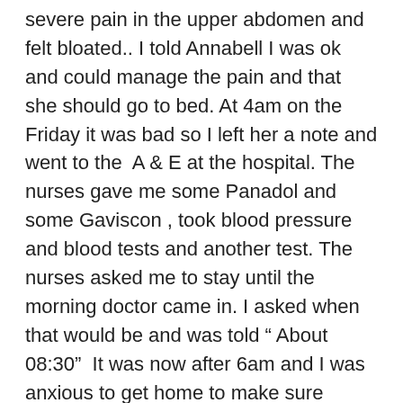severe pain in the upper abdomen and felt bloated.. I told Annabell I was ok and could manage the pain and that she should go to bed. At 4am on the Friday it was bad so I left her a note and went to the  A & E at the hospital. The nurses gave me some Panadol and some Gaviscon , took blood pressure and blood tests and another test. The nurses asked me to stay until the morning doctor came in. I asked when that would be and was told " About 08:30"  It was now after 6am and I was anxious to get home to make sure Annabell was ok, so I signed myself out. They did give me information and a report of what they had done and advised me to see my doctor as soon as possible.
At home I sorted out Annabell's breakfast and had a sip of water. I left the house and took the reports to the clinic and  made an appointment for 12noon. When I got home again, Annabell was up and worrying about